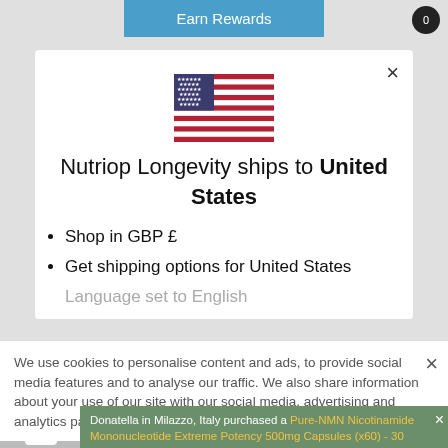Earn Rewards
[Figure (illustration): US flag icon]
Nutriop Longevity ships to United States
Shop in GBP £
Get shipping options for United States
We use cookies to personalise content and ads, to provide social media features and to analyse our traffic. We also share information about your use of our site with our social media, advertising and analytics partners.
Donatella in Milazzo, Italy purchased a Pure-NMN Nicotinamide Mononucleotide Extreme Potency 500mg Capsules (x60) - 30 Grams